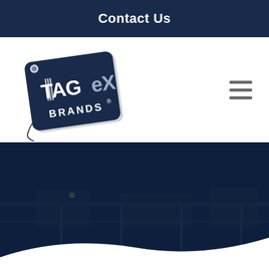Contact Us
[Figure (logo): TAGex Brands logo — a price tag shape with dark navy background, 'TAG' in white text with a fork/knife motif replacing letters, 'ex' in lighter color, 'BRANDS' text below with registered trademark symbol, tag has a string/cord attached at bottom left]
[Figure (photo): Dark navy-tinted kitchen or restaurant equipment scene, heavily overlaid with dark navy blue, showing counters and appliances barely visible, with a white curved wave/arc at the bottom edge of the section]